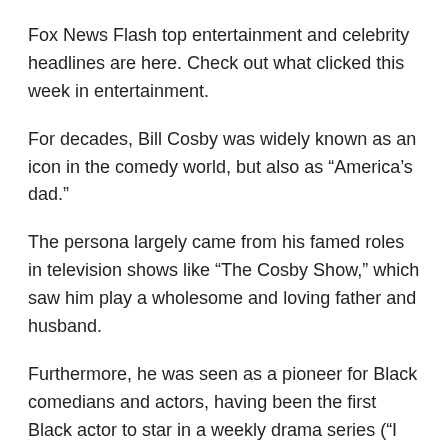Fox News Flash top entertainment and celebrity headlines are here. Check out what clicked this week in entertainment.
For decades, Bill Cosby was widely known as an icon in the comedy world, but also as “America’s dad.”
The persona largely came from his famed roles in television shows like “The Cosby Show,” which saw him play a wholesome and loving father and husband.
Furthermore, he was seen as a pioneer for Black comedians and actors, having been the first Black actor to star in a weekly drama series (“I Spy”) and the first Black person to win an Emmy for acting.